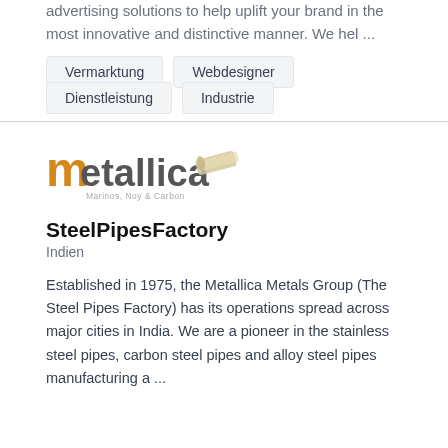advertising solutions to help uplift your brand in the most innovative and distinctive manner. We hel ...
Vermarktung
Webdesigner
Dienstleistung
Industrie
[Figure (logo): Metallica Metals, Noy & Carbon company logo with stylized M and pipe graphic]
SteelPipesFactory
Indien
Established in 1975, the Metallica Metals Group (The Steel Pipes Factory) has its operations spread across major cities in India. We are a pioneer in the stainless steel pipes, carbon steel pipes and alloy steel pipes manufacturing a ...